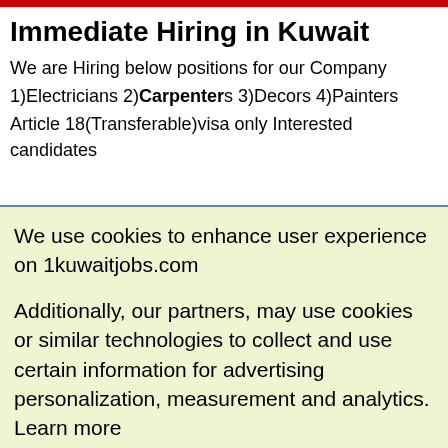Immediate Hiring in Kuwait
We are Hiring below positions for our Company 1)Electricians 2)Carpenters 3)Decors 4)Painters Article 18(Transferable)visa only Interested candidates
We use cookies to enhance user experience on 1kuwaitjobs.com
Additionally, our partners, may use cookies or similar technologies to collect and use certain information for advertising personalization, measurement and analytics. Learn more
Privacy Policy
I Agree